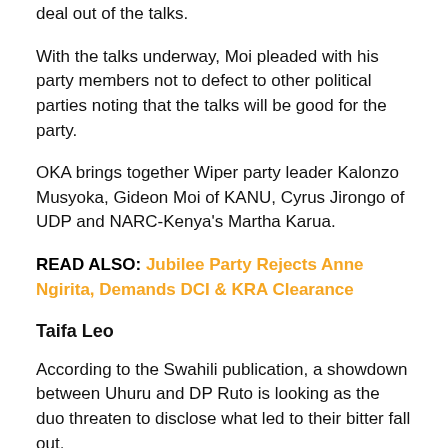deal out of the talks.
With the talks underway, Moi pleaded with his party members not to defect to other political parties noting that the talks will be good for the party.
OKA brings together Wiper party leader Kalonzo Musyoka, Gideon Moi of KANU, Cyrus Jirongo of UDP and NARC-Kenya's Martha Karua.
READ ALSO: Jubilee Party Rejects Anne Ngirita, Demands DCI & KRA Clearance
Taifa Leo
According to the Swahili publication, a showdown between Uhuru and DP Ruto is looking as the duo threaten to disclose what led to their bitter fall out.
A section of leaders allied to the Head of State